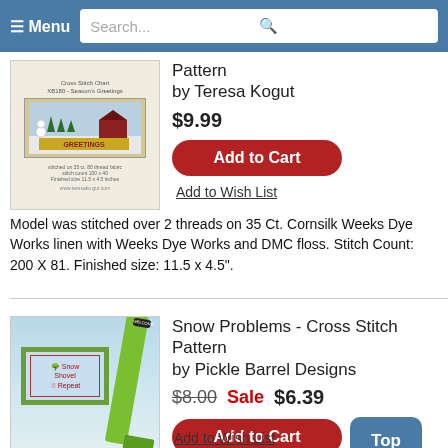☰ Menu  Search...
[Figure (photo): Cross stitch chart for XB180 - Season's Greetings by Teresa Kogut showing a winter scene with snowman and barn with GREETINGS text]
Pattern
by Teresa Kogut
$9.99
Add to Cart
Add to Wish List
Model was stitched over 2 threads on 35 Ct. Cornsilk Weeks Dye Works linen with Weeks Dye Works and DMC floss. Stitch Count: 200 X 81. Finished size: 11.5 x 4.5".
[Figure (photo): Snow Problems cross stitch pattern by Pickle Barrel Designs showing a small framed piece with snow shovel and text Snow Shovel Repeat, with a green snow shovel in background]
Snow Problems - Cross Stitch Pattern
by Pickle Barrel Designs
$8.00 Sale $6.39
Add to Cart
Add to Wish List
Top